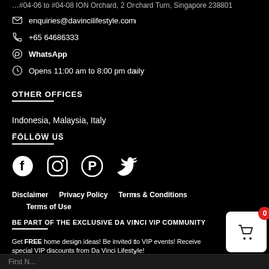enquiries@davincilifestyle.com
+65 64686333
WhatsApp
Opens 11:00 am to 8:00 pm daily
OTHER OFFICES
Indonesia, Malaysia, Italy
FOLLOW US
[Figure (illustration): Social media icons: Facebook, Instagram, Pinterest, Twitter]
Disclaimer   Privacy Policy   Terms & Conditions   Terms of Use
BE PART OF THE EXCLUSIVE DA VINCI VIP COMMUNITY
Get FREE home design ideas! Be invited to VIP events! Receive special VIP discounts from Da Vinci Lifestyle!
[Figure (illustration): Shopping cart icon with badge showing 0]
First Na...